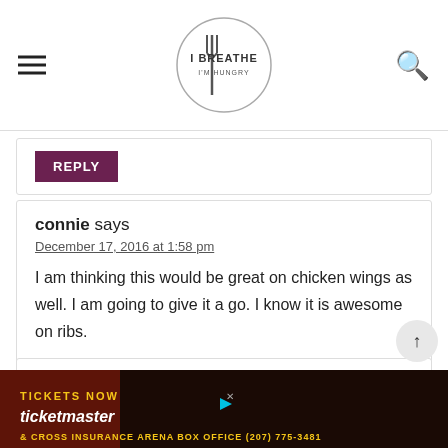I BREATHE I'M HUNGRY
REPLY
connie says
December 17, 2016 at 1:58 pm
I am thinking this would be great on chicken wings as well. I am going to give it a go. I know it is awesome on ribs.
REPLY
Connie says
December 5, 2016 at 10:36 am
Aweso...
[Figure (screenshot): Ticketmaster advertisement banner: TICKETS NOW ticketmaster & CROSS INSURANCE ARENA BOX OFFICE (207) 775-3481]